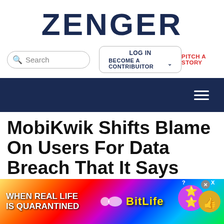ZENGER
[Figure (screenshot): Navigation bar with search box, LOG IN, BECOME A CONTRIBUITOR, and PITCH A STORY links]
[Figure (screenshot): Dark navy navigation bar with hamburger menu icon]
MobiKwik Shifts Blame On Users For Data Breach That It Says Didn’t Happen
Data of Indian fintech firm’s 110 million
[Figure (infographic): BitLife advertisement banner: WHEN REAL LIFE IS QUARANTINED with BitLife logo and emoji characters]